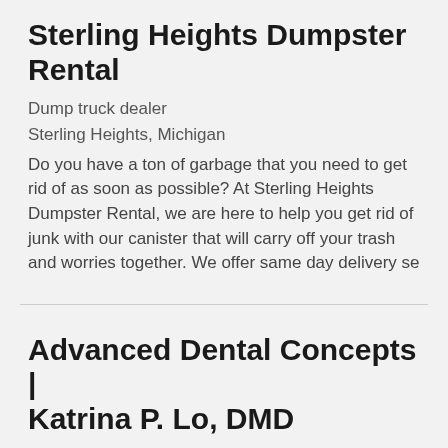Sterling Heights Dumpster Rental
Dump truck dealer
Sterling Heights, Michigan
Do you have a ton of garbage that you need to get rid of as soon as possible? At Sterling Heights Dumpster Rental, we are here to help you get rid of junk with our canister that will carry off your trash and worries together. We offer same day delivery se
Advanced Dental Concepts | Katrina P. Lo, DMD
Dentist